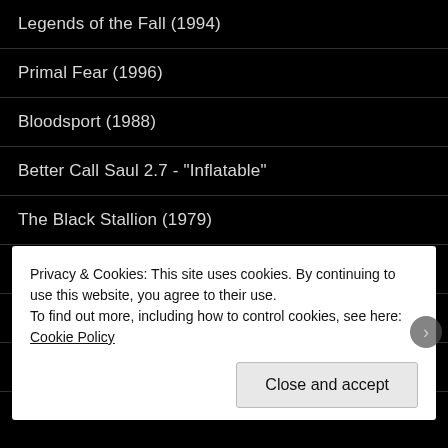Legends of the Fall (1994)
Primal Fear (1996)
Bloodsport (1988)
Better Call Saul 2.7 - "Inflatable"
The Black Stallion (1979)
True Detective 2.8 - "Omega Station"
True Detective (2014): A Man Without a Family
Better Call Saul 1.9 - "Pimento"
Privacy & Cookies: This site uses cookies. By continuing to use this website, you agree to their use.
To find out more, including how to control cookies, see here: Cookie Policy
Close and accept